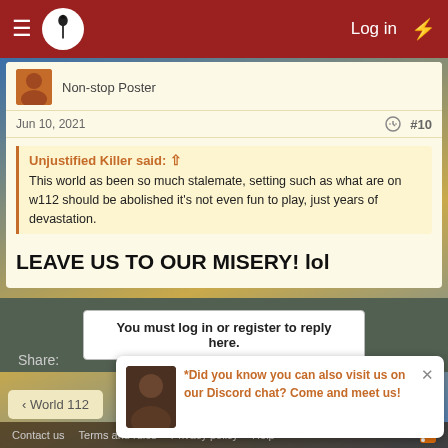≡ [logo] Log in ⚡
Non-stop Poster
Jun 10, 2021  #10
Unjustified Killer said: ↑
This world as been so much stalemate, setting such as what are on w112 should be abolished it's not even fun to play, just years of devastation.
LEAVE US TO OUR MISERY! lol
You must log in or register to reply here.
Share:
Did you know you can also visit us on our Discord chat? Come and meet us!
< World 112
Contact us   Terms and rules   Privacy policy   Help